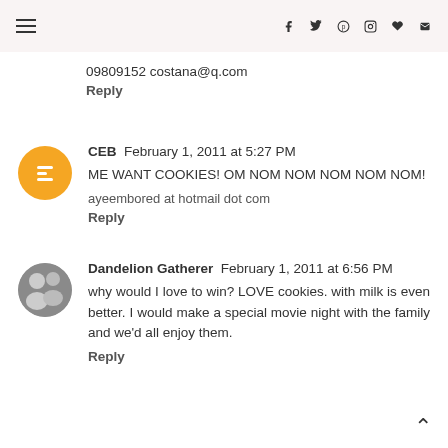Navigation and social icons header
09809152 costana@q.com
Reply
CEB  February 1, 2011 at 5:27 PM
ME WANT COOKIES! OM NOM NOM NOM NOM NOM!
ayeembored at hotmail dot com
Reply
Dandelion Gatherer  February 1, 2011 at 6:56 PM
why would I love to win? LOVE cookies. with milk is even better. I would make a special movie night with the family and we'd all enjoy them.
Reply